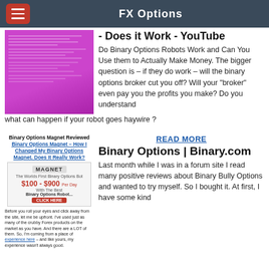FX Options
- Does it Work - YouTube
Do Binary Options Robots Work and Can You Use them to Actually Make Money. The bigger question is – if they do work – will the binary options broker cut you off? Will your "broker" even pay you the profits you make? Do you understand what can happen if your robot goes haywire ?
READ MORE
Binary Options | Binary.com
[Figure (screenshot): Screenshot thumbnail of a webpage with pink/magenta background and text lines]
[Figure (screenshot): Binary Options Magnet Reviewed advertisement showing $100-$900 per day claim]
Binary Options Magnet Reviewed
Binary Options Magnet – How I Changed My Binary Options Magnet. Does It Really Work?
Before you roll your eyes and click away from the site, let me be upfront. I've used just as many of the crubby Forex products on the market as you have. And there are a LOT of them. So, I'm coming from a place of experience here – and like yours, my experience wasn't always good.
Last month while I was in a forum site I read many positive reviews about Binary Bully Options and wanted to try myself. So I bought it. At first, I have some kind